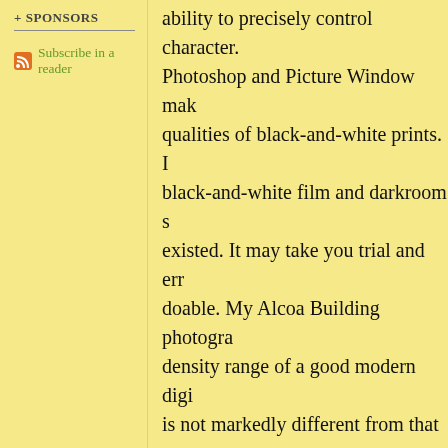+ SPONSORS
Subscribe in a reader
ability to precisely control character. Photoshop and Picture Window make qualities of black-and-white prints. I black-and-white film and darkroom existed. It may take you trial and err doable. My Alcoa Building photogra density range of a good modern digi is not markedly different from that o you're printing on matte papers, that' you may have to give them up or get In the extreme, an exceptionally wel print may convey a longer density ra more precise and complete control o usually trumps that hand.
[Figure (other): Blog157figure1 - a figure/image linked in the blog post]
The negative languished in my fil darkroom paper that I needed to